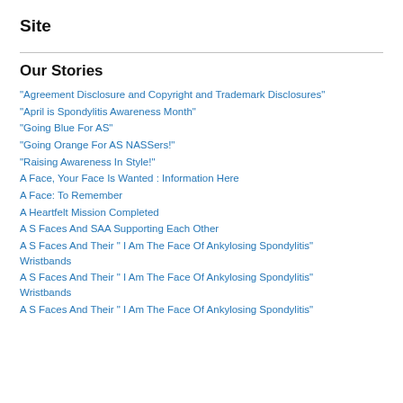Site
Our Stories
“Agreement Disclosure and Copyright and Trademark Disclosures”
“April is Spondylitis Awareness Month”
“Going Blue For AS”
“Going Orange For AS NASSers!”
“Raising Awareness In Style!”
A Face, Your Face Is Wanted : Information Here
A Face: To Remember
A Heartfelt Mission Completed
A S Faces And SAA Supporting Each Other
A S Faces And Their “ I Am The Face Of Ankylosing Spondylitis” Wristbands
A S Faces And Their “ I Am The Face Of Ankylosing Spondylitis” Wristbands
A S Faces And Their “ I Am The Face Of Ankylosing Spondylitis” Wristbands